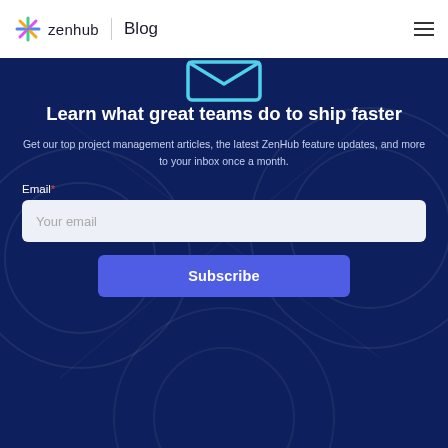zenhub Blog
[Figure (illustration): Dark navy blue newsletter subscription section with decorative geometric circle outlines and an envelope icon at the top.]
Learn what great teams do to ship faster
Get our top project management articles, the latest ZenHub feature updates, and more to your inbox once a month.
Email *
Your email
Subscribe